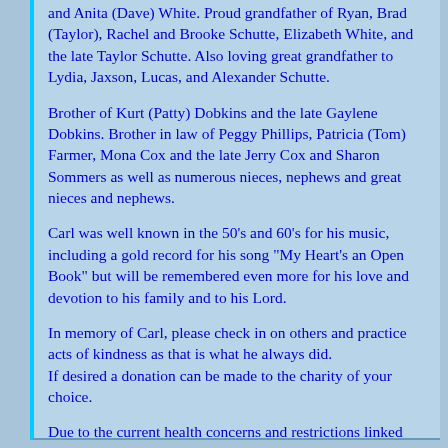and Anita (Dave) White. Proud grandfather of Ryan, Brad (Taylor), Rachel and Brooke Schutte, Elizabeth White, and the late Taylor Schutte. Also loving great grandfather to Lydia, Jaxson, Lucas, and Alexander Schutte.
Brother of Kurt (Patty) Dobkins and the late Gaylene Dobkins. Brother in law of Peggy Phillips, Patricia (Tom) Farmer, Mona Cox and the late Jerry Cox and Sharon Sommers as well as numerous nieces, nephews and great nieces and nephews.
Carl was well known in the 50's and 60's for his music, including a gold record for his song "My Heart's an Open Book" but will be remembered even more for his love and devotion to his family and to his Lord.
In memory of Carl, please check in on others and practice acts of kindness as that is what he always did. If desired a donation can be made to the charity of your choice.
Due to the current health concerns and restrictions linked with COVID-19, the family will be holding a private graveside service and a celebration of life at a later date.